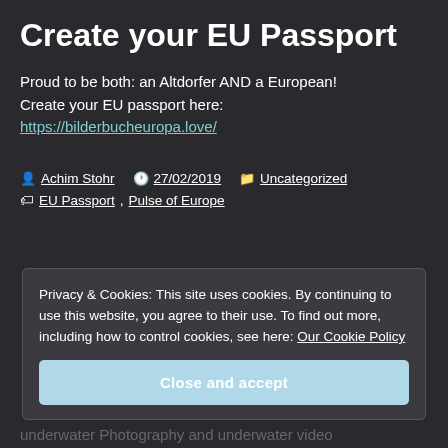Create your EU Passport
Proud to be both: an Altdorfer AND a European! Create your EU passport here: https://bilderbucheuropa.love/
Achim Stohr  27/02/2019  Uncategorized
EU Passport, Pulse of Europe
Privacy & Cookies: This site uses cookies. By continuing to use this website, you agree to their use. To find out more, including how to control cookies, see here: Our Cookie Policy
Close and accept
underwater Photography and underwater video